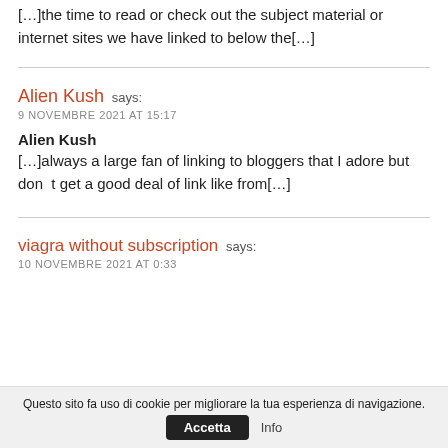[…]the time to read or check out the subject material or internet sites we have linked to below the[…]
Alien Kush says:
9 NOVEMBRE 2021 AT 15:17
Alien Kush
[…]always a large fan of linking to bloggers that I adore but don’t get a good deal of link like from[…]
viagra without subscription says:
10 NOVEMBRE 2021 AT 0:33
Questo sito fa uso di cookie per migliorare la tua esperienza di navigazione.